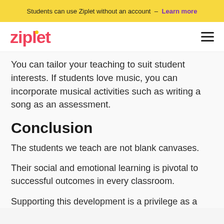Students can use Ziplet without an account – Learn more
[Figure (logo): Ziplet logo in red/pink with yellow dot, hamburger menu icon on right]
You can tailor your teaching to suit student interests. If students love music, you can incorporate musical activities such as writing a song as an assessment.
Conclusion
The students we teach are not blank canvases.
Their social and emotional learning is pivotal to successful outcomes in every classroom.
Supporting this development is a privilege as a